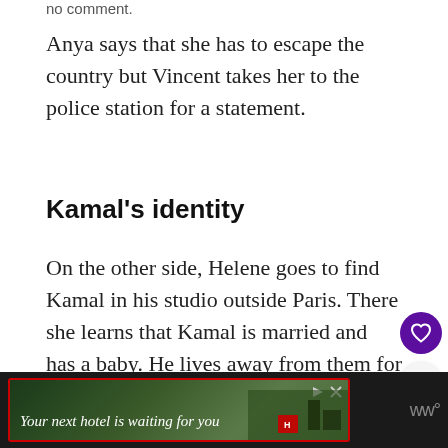Anya says that she has to escape the country but Vincent takes her to the police station for a statement.
Kamal’s identity
On the other side, Helene goes to find Kamal in his studio outside Paris. There she learns that Kamal is married and has a baby. He lives away from them for safety.
[Figure (infographic): What's Next widget showing a thumbnail image and text 'The Perfect Mother (202...' with a purple arrow label 'WHAT'S NEXT']
[Figure (infographic): Advertisement banner at bottom with dark background and red border showing 'Your next hotel is waiting for you' in italic text over a landscape image]